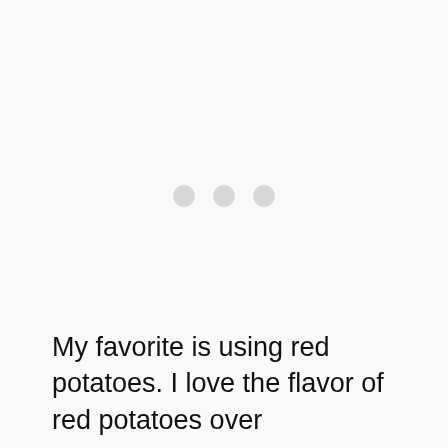[Figure (other): Three light gray loading indicator dots centered in the upper-middle portion of the page]
My favorite is using red potatoes. I love the flavor of red potatoes over